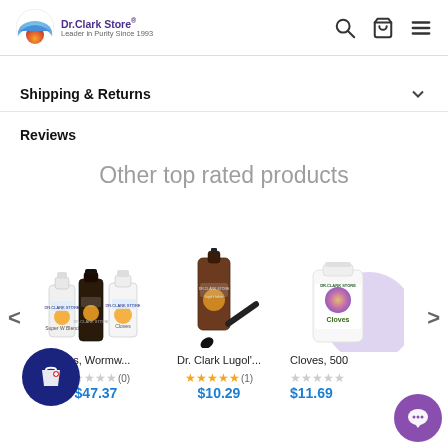Dr.Clark Store® Leader in Purity Since 1993
Shipping & Returns
Reviews
Other top rated products
[Figure (photo): Product image: Cloves, Wormwood combo bottles]
ves, Wormw...
(0)
$47.37
[Figure (photo): Product image: Dr. Clark Lugol's iodine dropper bottle]
Dr. Clark Lugol'...
(1)
$10.29
[Figure (photo): Product image: Cloves 500 bottle]
Cloves, 500
$11.69